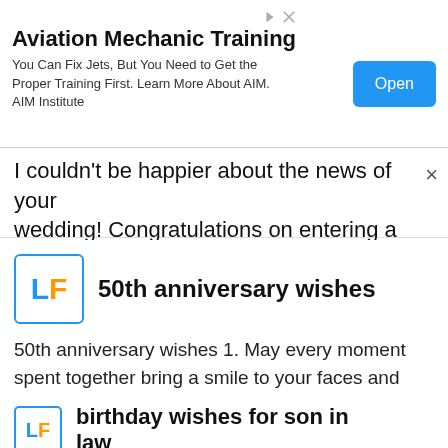[Figure (screenshot): Advertisement banner for Aviation Mechanic Training with an Open button]
I couldn't be happier about the news of your wedding! Congratulations on entering a new phas...
50th anniversary wishes
50th anniversary wishes 1. May every moment spent together bring a smile to your faces and strength for more than 50 years together. Happy...
birthday wishes for son in law